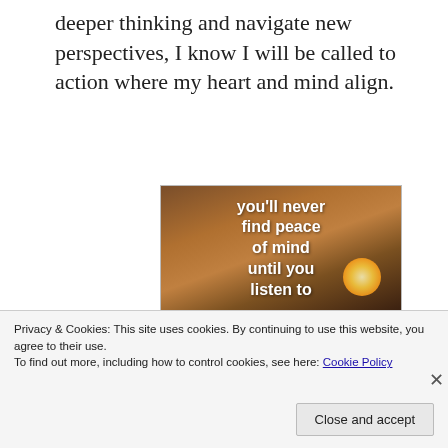deeper thinking and navigate new perspectives, I know I will be called to action where my heart and mind align.
[Figure (illustration): Inspirational image with warm sunset/sunrise tones and white text overlay reading: you'll never find peace of mind until you listen to]
Privacy & Cookies: This site uses cookies. By continuing to use this website, you agree to their use.
To find out more, including how to control cookies, see here: Cookie Policy